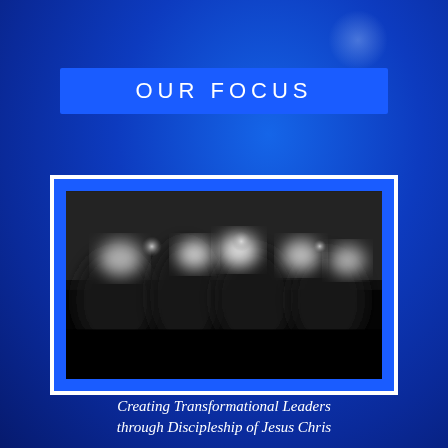OUR FOCUS
[Figure (photo): Blurred black and white photograph of a group of people, likely graduates or attendees at a formal event, with bright lights in the background]
Creating Transformational Leaders through Discipleship of Jesus Chris